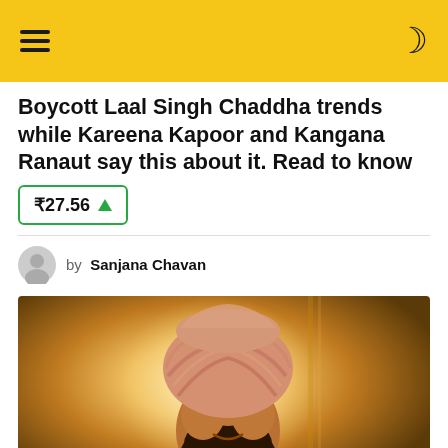Navigation header bar with hamburger menu and moon/dark mode icon
Boycott Laal Singh Chaddha trends while Kareena Kapoor and Kangana Ranaut say this about it. Read to know
₹27.56 ▲
by Sanjana Chavan
[Figure (photo): A man wearing a pink/orange Sikh turban with a large beard, smiling, in a warm golden-lit scene — appears to be a still from the film Laal Singh Chaddha]